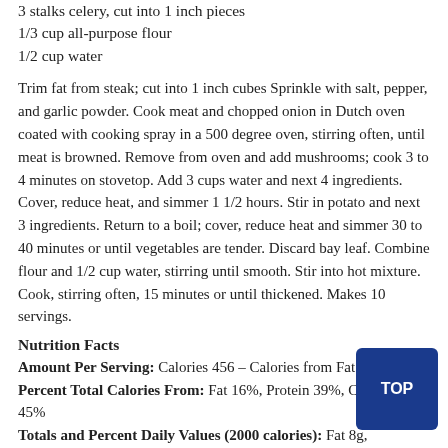3 stalks celery, cut into 1 inch pieces
1/3 cup all-purpose flour
1/2 cup water
Trim fat from steak; cut into 1 inch cubes Sprinkle with salt, pepper, and garlic powder. Cook meat and chopped onion in Dutch oven coated with cooking spray in a 500 degree oven, stirring often, until meat is browned. Remove from oven and add mushrooms; cook 3 to 4 minutes on stovetop. Add 3 cups water and next 4 ingredients. Cover, reduce heat, and simmer 1 1/2 hours. Stir in potato and next 3 ingredients. Return to a boil; cover, reduce heat and simmer 30 to 40 minutes or until vegetables are tender. Discard bay leaf. Combine flour and 1/2 cup water, stirring until smooth. Stir into hot mixture. Cook, stirring often, 15 minutes or until thickened. Makes 10 servings.
Nutrition Facts
Amount Per Serving: Calories 456 – Calories from Fat 72
Percent Total Calories From: Fat 16%, Protein 39%, Carbohydrate 45%
Totals and Percent Daily Values (2000 calories): Fat 8g,